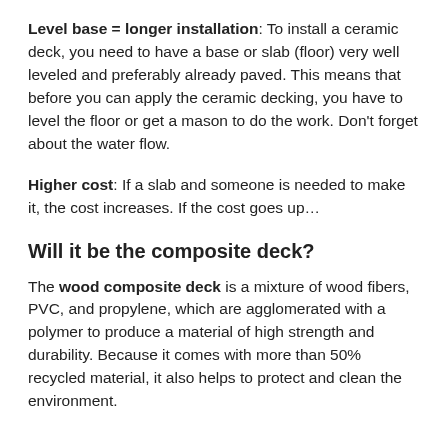Level base = longer installation: To install a ceramic deck, you need to have a base or slab (floor) very well leveled and preferably already paved. This means that before you can apply the ceramic decking, you have to level the floor or get a mason to do the work. Don't forget about the water flow.
Higher cost: If a slab and someone is needed to make it, the cost increases. If the cost goes up…
Will it be the composite deck?
The wood composite deck is a mixture of wood fibers, PVC, and propylene, which are agglomerated with a polymer to produce a material of high strength and durability. Because it comes with more than 50% recycled material, it also helps to protect and clean the environment.